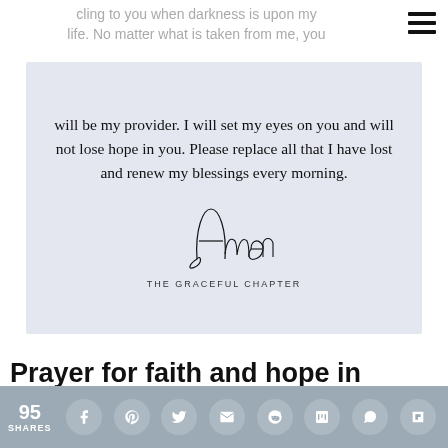cling to you when darkness is upon my life. No matter what is taken from me, you
[Figure (illustration): Light lavender/blue prayer card image with text: 'will be my provider. I will set my eyes on you and will not lose hope in you. Please replace all that I have lost and renew my blessings every morning.' followed by a handwritten-style 'Amen' signature and 'THE GRACEFUL CHAPTER' attribution in small caps.]
Prayer for faith and hope in reviving a failing business
95 SHARES  [social share icons: Facebook, Pinterest, Twitter, Email, Reddit, Mix, WhatsApp, Flipboard]